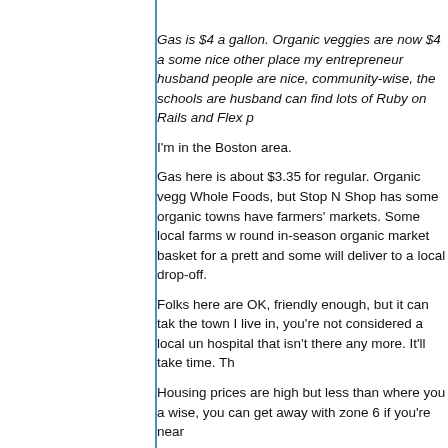Gas is $4 a gallon. Organic veggies are now $4 a some nice other place my entrepreneur husband people are nice, community-wise, the schools are husband can find lots of Ruby on Rails and Flex p
I'm in the Boston area.
Gas here is about $3.35 for regular. Organic vegg Whole Foods, but Stop N Shop has some organic towns have farmers' markets. Some local farms w round in-season organic market basket for a prett and some will deliver to a local drop-off.
Folks here are OK, friendly enough, but it can tak the town I live in, you're not considered a local un hospital that isn't there any more. It'll take time. Th
Housing prices are high but less than where you a wise, you can get away with zone 6 if you're near
Your husband can find lots of any kind of program
It's colder here than where you are. You'd want to
You might check out Providence, too, it's a little w